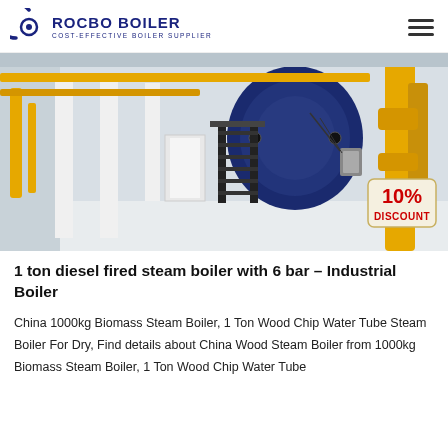ROCBO BOILER — COST-EFFECTIVE BOILER SUPPLIER
[Figure (photo): Industrial boiler facility interior showing large blue cylindrical boilers with yellow piping, black metal staircases, and white walls. A red '10% DISCOUNT' badge overlaid in the bottom-right corner.]
1 ton diesel fired steam boiler with 6 bar – Industrial Boiler
China 1000kg Biomass Steam Boiler, 1 Ton Wood Chip Water Tube Steam Boiler For Dry, Find details about China Wood Steam Boiler from 1000kg Biomass Steam Boiler, 1 Ton Wood Chip Water Tube